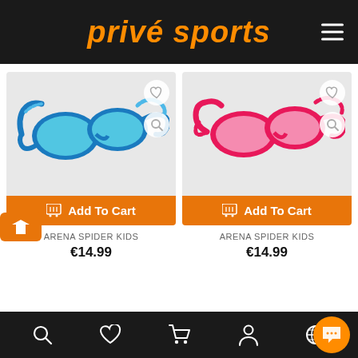Privé Sports
[Figure (photo): Blue Arena Spider Kids swimming goggles product photo]
[Figure (photo): Pink Arena Spider Kids swimming goggles product photo]
Add To Cart
Add To Cart
ARENA SPIDER KIDS
€14.99
ARENA SPIDER KIDS
€14.99
Navigation bar with search, wishlist, cart, profile, globe icons